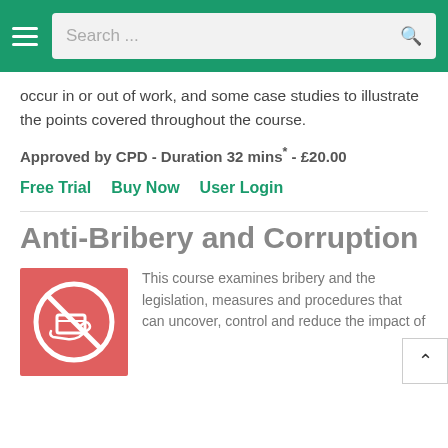Search ...
occur in or out of work, and some case studies to illustrate the points covered throughout the course.
Approved by CPD - Duration 32 mins* - £20.00
Free Trial   Buy Now   User Login
Anti-Bribery and Corruption
[Figure (illustration): Red square icon with a white no-bribery symbol: a hand passing money inside a crossed-out circle]
This course examines bribery and the legislation, measures and procedures that can uncover, control and reduce the impact of